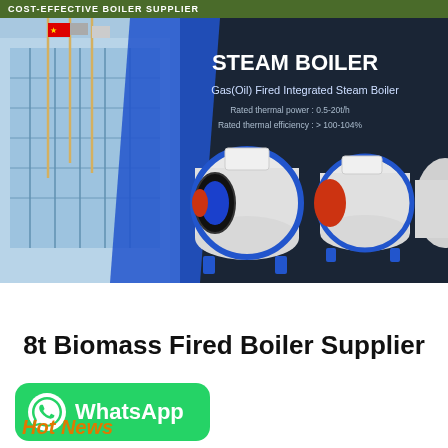COST-EFFECTIVE BOILER SUPPLIER
[Figure (photo): Steam boiler product banner showing industrial building with flags on left, and three Gas(Oil) Fired Integrated Steam Boiler units on dark background. Text reads: STEAM BOILER, Gas(Oil) Fired Integrated Steam Boiler, Rated thermal power: 0.5-20t/h, Rated thermal efficiency: > 100-104%]
8t Biomass Fired Boiler Supplier
[Figure (logo): WhatsApp button - green rounded rectangle with WhatsApp phone icon and text WhatsApp]
Hot News